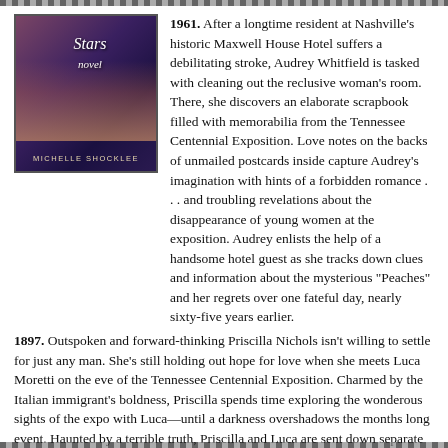[Figure (illustration): Book cover for a novel by Michelle Shocklee, with stars in the title, dark purple/blue background with a figure of a woman in period dress]
1961. After a longtime resident at Nashville's historic Maxwell House Hotel suffers a debilitating stroke, Audrey Whitfield is tasked with cleaning out the reclusive woman's room. There, she discovers an elaborate scrapbook filled with memorabilia from the Tennessee Centennial Exposition. Love notes on the backs of unmailed postcards inside capture Audrey's imagination with hints of a forbidden romance . . . and troubling revelations about the disappearance of young women at the exposition. Audrey enlists the help of a handsome hotel guest as she tracks down clues and information about the mysterious “Peaches” and her regrets over one fateful day, nearly sixty-five years earlier.
1897. Outspoken and forward-thinking Priscilla Nichols isn’t willing to settle for just any man. She’s still holding out hope for love when she meets Luca Moretti on the eve of the Tennessee Centennial Exposition. Charmed by the Italian immigrant’s boldness, Priscilla spends time exploring the wonderous sights of the expo with Luca—until a darkness overshadows the months long event. Haunted by a terrible truth, Priscilla and Luca are sent down separate paths as the night’s stars fade into dawn.
Published in , Tennessee , 1890s, 1960s , 1880-1900 (US Turn of Century), 1946-Present Day , World’s Fairs , Immigrants , Dual/Split Time, Mystery , Shocklee-Michelle on March 22, 2022 by ihfi
The In... [red italic title text partially visible]